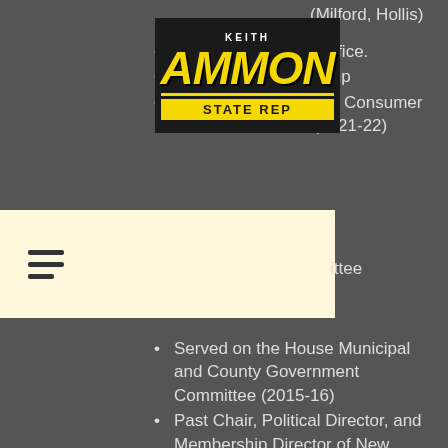[Figure (logo): Keith Ammon State Rep campaign logo — black background with yellow bold italic AMMON text and yellow STATE REP banner]
Served [X] terms in office.
Assistant Majority Whip
Chair, Commerce and Consumer Affairs Committee (2021-22)
[Committee] (partially obscured)
Served on the House Municipal and County Government Committee (2015-16)
Past Chair, Political Director, and Membership Director of New Hampshire Liberty Alliance
Director of New Boston Republican Committee
Director of New Boston Taxpayers' Association
Former member of the New Boston School Board
Interests
Enjoys playing guitar and taking walks